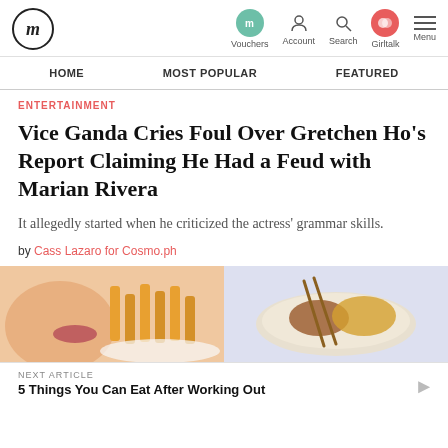fm | Vouchers | Account | Search | Girltalk | Menu
HOME | MOST POPULAR | FEATURED
ENTERTAINMENT
Vice Ganda Cries Foul Over Gretchen Ho's Report Claiming He Had a Feud with Marian Rivera
It allegedly started when he criticized the actress' grammar skills.
by Cass Lazaro for Cosmo.ph
[Figure (photo): Two food images side by side: left shows french fries with a person's face/lips partially visible, right shows a plate of food with chopsticks on a light purple background]
NEXT ARTICLE
5 Things You Can Eat After Working Out